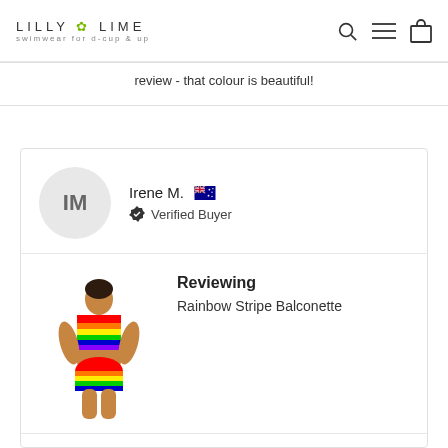LILLY & LIME swimwear for d-cup & up
review - that colour is beautiful!
Irene M. 🇦🇺 Verified Buyer
[Figure (photo): Rainbow Stripe Balconette swimwear product photo with model]
Reviewing Rainbow Stripe Balconette
I recommend this product
ICE DANCE